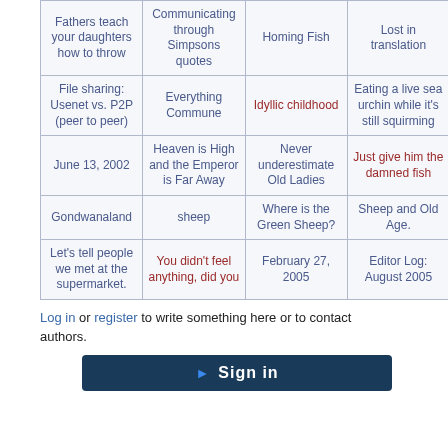| Fathers teach your daughters how to throw | Communicating through Simpsons quotes | Homing Fish | Lost in translation |
| File sharing: Usenet vs. P2P (peer to peer) | Everything Commune | Idyllic childhood | Eating a live sea urchin while it's still squirming |
| June 13, 2002 | Heaven is High and the Emperor is Far Away | Never underestimate Old Ladies | Just give him the damned fish |
| Gondwanaland | sheep | Where is the Green Sheep? | Sheep and Old Age. |
| Let's tell people we met at the supermarket. | You didn't feel anything, did you | February 27, 2005 | Editor Log: August 2005 |
Log in or register to write something here or to contact authors.
[Figure (other): Sign in button bar with dark blue background]